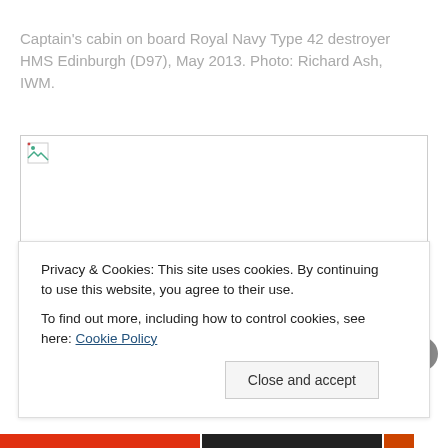Captain's cabin on board Royal Navy Type 42 destroyer HMS Edinburgh (D97), May 2013. Photo: Richard Ash, IWM.
[Figure (photo): Broken image placeholder for photo of Captain's cabin on board HMS Edinburgh (D97)]
Privacy & Cookies: This site uses cookies. By continuing to use this website, you agree to their use.
To find out more, including how to control cookies, see here: Cookie Policy
Close and accept